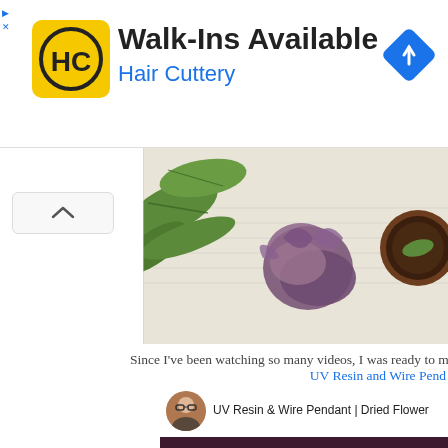[Figure (screenshot): Advertisement banner for Hair Cuttery. Yellow logo with HC initials, text 'Walk-Ins Available' and 'Hair Cuttery' in blue, blue diamond navigation icon on right.]
[Figure (photo): Photograph of dried flowers (purple/violet flowers and green leaves) on white paper background with handwriting, and a wooden bowl.]
Since I've been watching so many videos, I was ready to make so
UV Resin and Wire Pend
[Figure (screenshot): YouTube video thumbnail for 'UV Resin & Wire Pendant | Dried Flower' with large white text 'UV RESIN' on dark purple/maroon background. Channel avatar shows woman with glasses.]